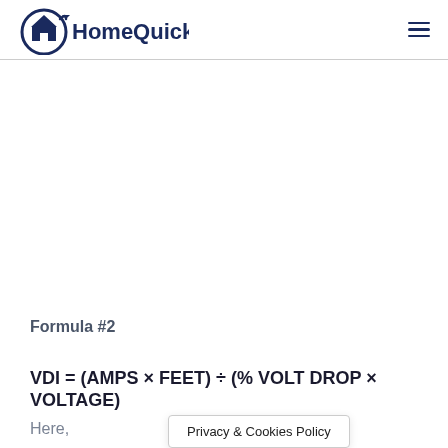HomeQuicks
Formula #2
Here,
Privacy & Cookies Policy